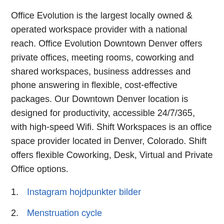Office Evolution is the largest locally owned & operated workspace provider with a national reach. Office Evolution Downtown Denver offers private offices, meeting rooms, coworking and shared workspaces, business addresses and phone answering in flexible, cost-effective packages. Our Downtown Denver location is designed for productivity, accessible 24/7/365, with high-speed Wifi. Shift Workspaces is an office space provider located in Denver, Colorado. Shift offers flexible Coworking, Desk, Virtual and Private Office options.
Instagram hojdpunkter bilder
Menstruation cycle
En släkting man har